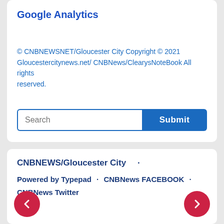Google Analytics
© CNBNEWSNET/Gloucester City Copyright © 2021 Gloucestercitynews.net/ CNBNews/ClearysNoteBook All rights reserved.
Search  Submit
CNBNEWS/Gloucester City  ·
Powered by Typepad  ·  CNBNews FACEBOOK  ·  CNBNews Twitter